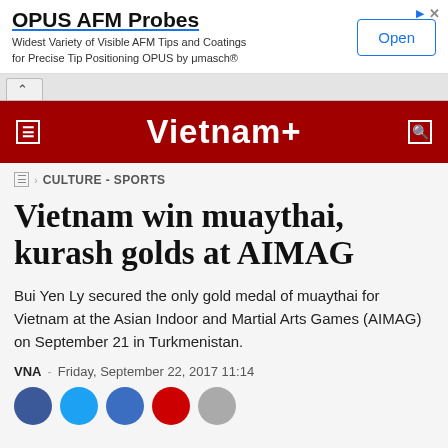[Figure (screenshot): Advertisement banner for OPUS AFM Probes with Open button]
Vietnam+ (VietnamPlus) news website header with navigation
CULTURE - SPORTS
Vietnam win muaythai, kurash golds at AIMAG
Bui Yen Ly secured the only gold medal of muaythai for Vietnam at the Asian Indoor and Martial Arts Games (AIMAG) on September 21 in Turkmenistan.
VNA - Friday, September 22, 2017 11:14